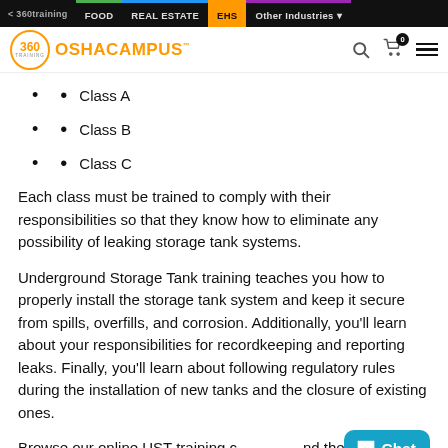< 360training | FOOD | REAL ESTATE | EHS | Other Industries
[Figure (logo): 360training OSHACAMPUS logo with navigation icons]
Class A
Class B
Class C
Each class must be trained to comply with their responsibilities so that they know how to eliminate any possibility of leaking storage tank systems.
Underground Storage Tank training teaches you how to properly install the storage tank system and keep it secure from spills, overfills, and corrosion. Additionally, you'll learn about your responsibilities for recordkeeping and reporting leaks. Finally, you'll learn about following regulatory rules during the installation of new tanks and the closure of existing ones.
Browse our online UST training c... nd the right